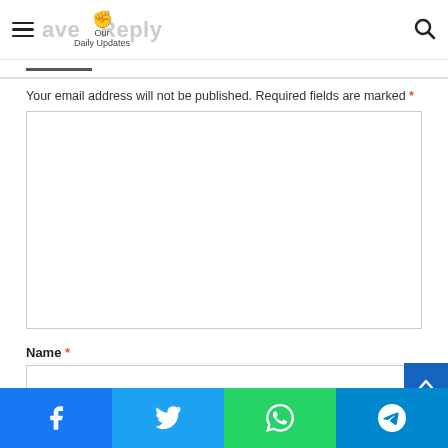Leave a Reply | Our Daily Updates
Your email address will not be published. Required fields are marked *
Comment textarea (empty)
Name *
Name input field (empty)
Social share bar: Facebook, Twitter, WhatsApp, Telegram